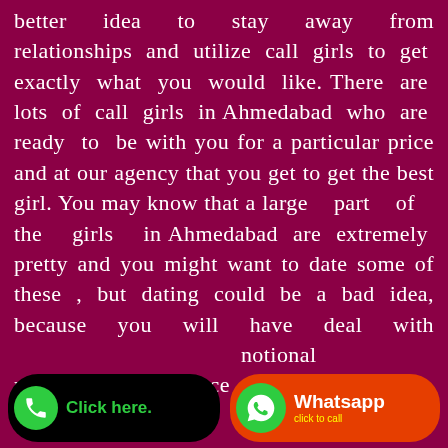better idea to stay away from relationships and utilize call girls to get exactly what you would like. There are lots of call girls in Ahmedabad who are ready to be with you for a particular price and at our agency that you get to get the best girl. You may know that a large part of the girls in Ahmedabad are extremely pretty and you might want to date some of these , but dating could be a bad idea, because you will have deal with emotional mental trouble. Hence to prevent
[Figure (other): Call button with phone icon and 'Click here.' text, and WhatsApp button with WhatsApp icon, 'Whatsapp' title and 'click to call' subtitle]